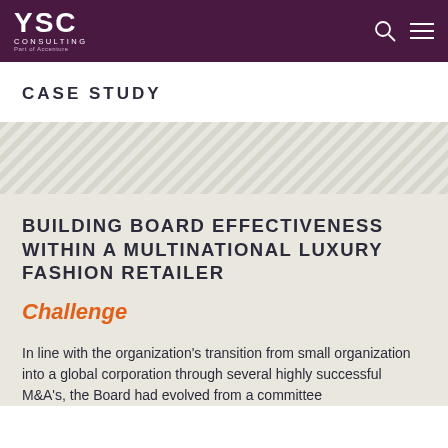YSC CONSULTING Part of Accenture
CASE STUDY
[Figure (illustration): Diagonal stripe decorative band in light gray/beige tones]
BUILDING BOARD EFFECTIVENESS WITHIN A MULTINATIONAL LUXURY FASHION RETAILER
Challenge
In line with the organization's transition from small organization into a global corporation through several highly successful M&A's, the Board had evolved from a committee